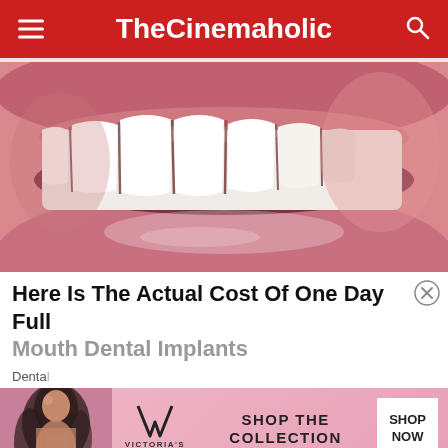TheCinemaholic
[Figure (photo): Close-up macro photo of white teeth with slightly open mouth and pink glossy lips]
Here Is The Actual Cost Of One Day Full Mouth Dental Implants
Dental ...
[Figure (other): Victoria's Secret advertisement banner with woman model, VS logo, 'SHOP THE COLLECTION' text, and 'SHOP NOW' button]